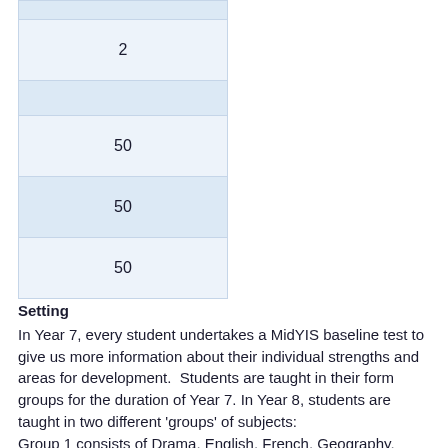|  |
| 2 |
|  |
| 50 |
| 50 |
| 50 |
Setting
In Year 7, every student undertakes a MidYIS baseline test to give us more information about their individual strengths and areas for development.  Students are taught in their form groups for the duration of Year 7.  In Year 8, students are taught in two different 'groups' of subjects:
Group 1 consists of Drama, English, French, Geography, History, PE and Spanish.  In these classes, students are taught in mixed ability groups.
Group 2 consists of Art, Computing, DT, Food, Maths,